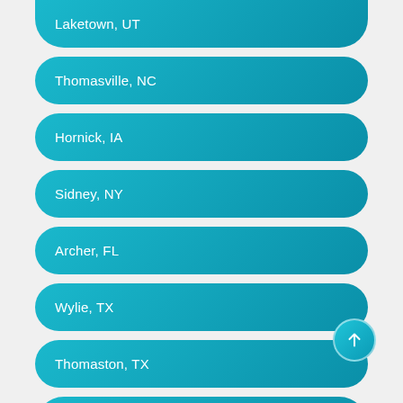Laketown, UT
Thomasville, NC
Hornick, IA
Sidney, NY
Archer, FL
Wylie, TX
Thomaston, TX
Villa Ridge, MO (partial)